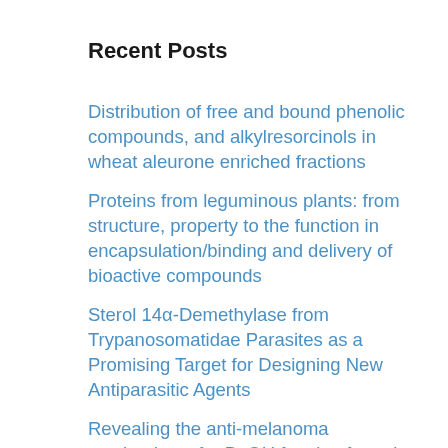Recent Posts
Distribution of free and bound phenolic compounds, and alkylresorcinols in wheat aleurone enriched fractions
Proteins from leguminous plants: from structure, property to the function in encapsulation/binding and delivery of bioactive compounds
Sterol 14α-Demethylase from Trypanosomatidae Parasites as a Promising Target for Designing New Antiparasitic Agents
Revealing the anti-melanoma mechanism of n-BuOH fraction from the red kidney bean coat extract based on network